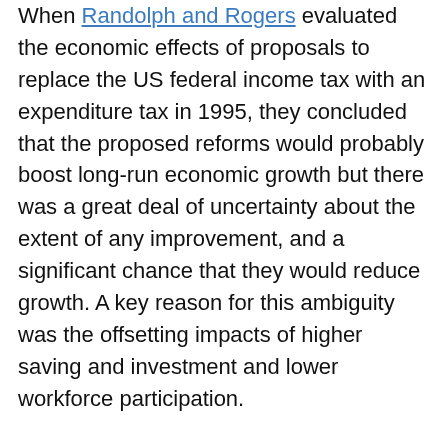When Randolph and Rogers evaluated the economic effects of proposals to replace the US federal income tax with an expenditure tax in 1995, they concluded that the proposed reforms would probably boost long-run economic growth but there was a great deal of uncertainty about the extent of any improvement, and a significant chance that they would reduce growth. A key reason for this ambiguity was the offsetting impacts of higher saving and investment and lower workforce participation.
In theory, a switch from taxing income towards taxing consumption should boost household saving because the portion of income that is saved would be exempted from tax. Academic studies over the past two decades have examined whether expenditure tax treatment of